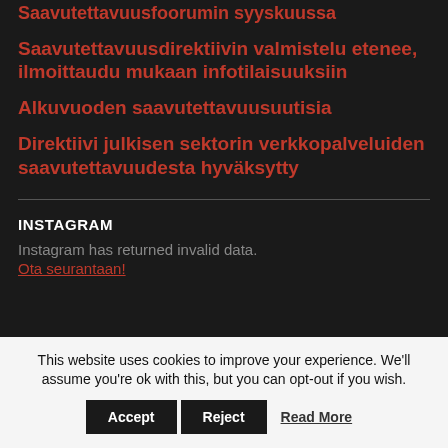Saavutettavuusfoorumin syyskuussa
Saavutettavuusdirektiivin valmistelu etenee, ilmoittaudu mukaan infotilaisuuksiin
Alkuvuoden saavutettavuusuutisia
Direktiivi julkisen sektorin verkkopalveluiden saavutettavuudesta hyväksytty
INSTAGRAM
Instagram has returned invalid data.
Ota seurantaan!
This website uses cookies to improve your experience. We'll assume you're ok with this, but you can opt-out if you wish.